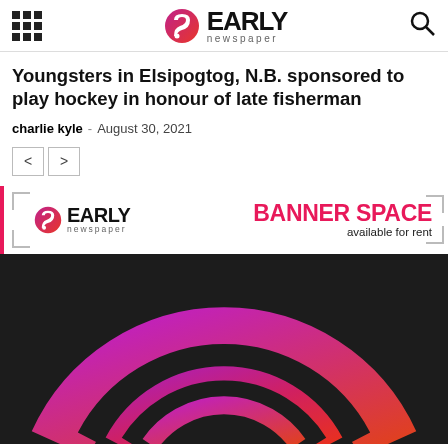Early Newspaper
Youngsters in Elsipogtog, N.B. sponsored to play hockey in honour of late fisherman
charlie kyle - August 30, 2021
[Figure (illustration): Early Newspaper banner advertisement with logo on left and 'BANNER SPACE available for rent' text on right]
[Figure (logo): Large Early Newspaper logo on dark background showing arc/circular design in pink-to-orange gradient]